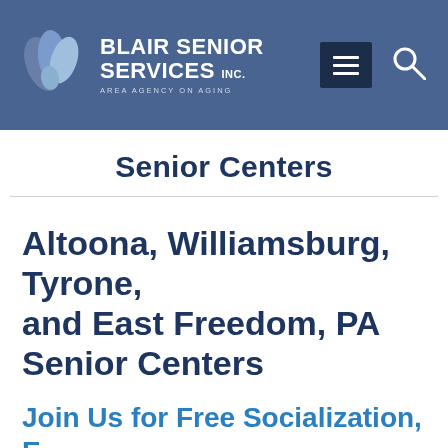Blair Senior Services Inc. Area Agency on Aging
Senior Centers
Altoona, Williamsburg, Tyrone, and East Freedom, PA Senior Centers
Join Us for Free Socialization, Entertainment, Food, Exercise,